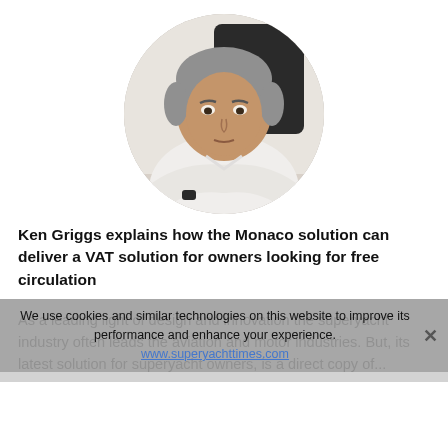[Figure (photo): Circular cropped portrait photo of Ken Griggs, an older man with grey hair wearing a white shirt, arms crossed, seated in front of a dark chair and light background.]
Ken Griggs explains how the Monaco solution can deliver a VAT solution for owners looking for free circulation
As a leading light of design and innovation the superyacht industry often leads the aviation and motor industries. But, its latest solution for superyacht owners, is a direct copy of ...